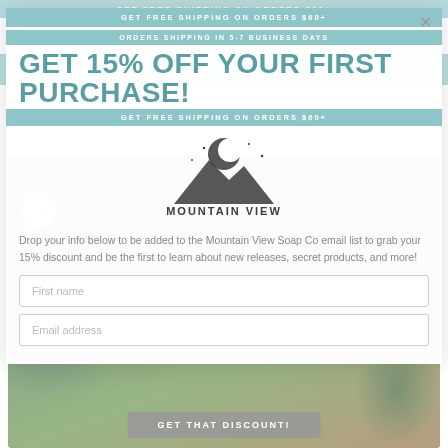GET FREE SHIPPING ON ORDERS $60+
[Figure (screenshot): Mountain View Soap Co website background showing navigation bar with hamburger menu, search icon, and cart icon, and a hero image of green plants and soap products]
GET 15% OFF YOUR FIRST PURCHASE!
GET FREE SHIPPING ON ORDERS $60+
Drop your info below to be added to the Mountain View Soap Co email list to grab your 15% discount and be the first to learn about new releases, secret products, and more!
[Figure (logo): Mountain View Soap Co logo with crescent moon over mountains illustration and text MOUNTAIN VIEW soap co]
First name
Email address
GET THAT DISCOUNT!